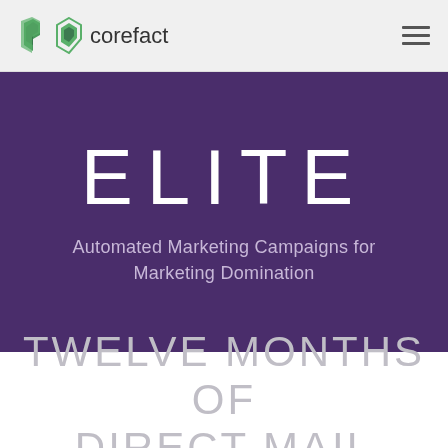corefact
ELITE
Automated Marketing Campaigns for Marketing Domination
TWELVE MONTHS OF DIRECT MAIL